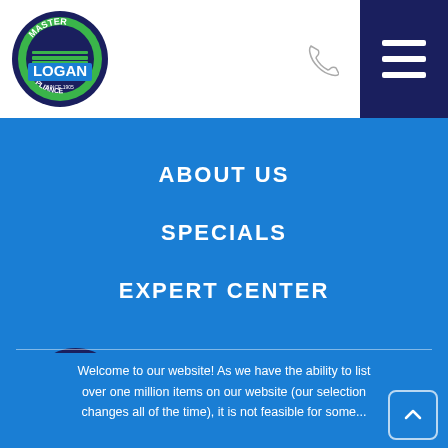[Figure (logo): Logan Master Appliance logo - circular badge with green and dark blue, LOGAN text in blue rectangle]
[Figure (logo): Phone icon (handset outline) white on white background]
[Figure (logo): Hamburger menu icon - three white bars on dark navy background]
ABOUT US
SPECIALS
EXPERT CENTER
[Figure (logo): Logan Master Appliance logo - larger version in footer]
2205 S. Smithville Road
Kettering, OH 45420
(937) 853-8987
Welcome to our website! As we have the ability to list over one million items on our website (our selection changes all of the time), it is not feasible for some...